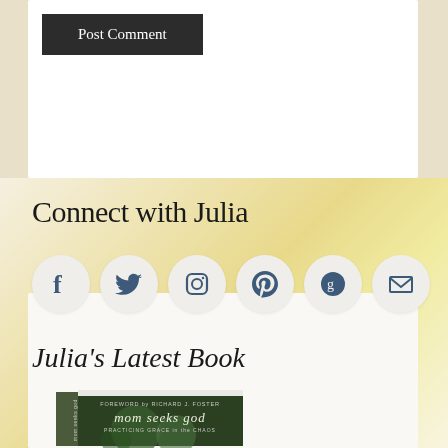[Figure (screenshot): Post Comment button — dark rectangular button with white text]
Connect with Julia
[Figure (infographic): Social media icon circles: Facebook, Twitter, Instagram, Pinterest, Goodreads, Email]
Julia's Latest Book
[Figure (photo): Book cover photo: Mom Seeks God — Practicing Grace in the Chaos, Foreword by Richard J. Foster]